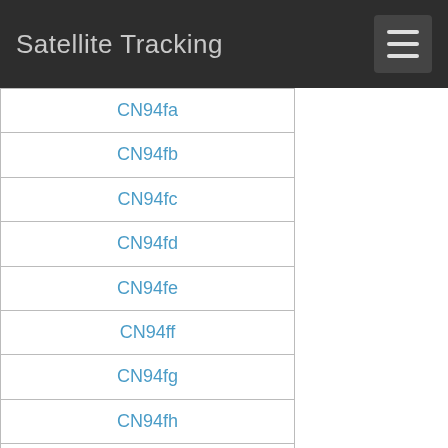Satellite Tracking
CN94fa
CN94fb
CN94fc
CN94fd
CN94fe
CN94ff
CN94fg
CN94fh
CN94fi
CN94fj
CN94fk
CN94fl
CN94fm
CN94fn
CN94fo
CN94fp
CN94fq
CN94fr